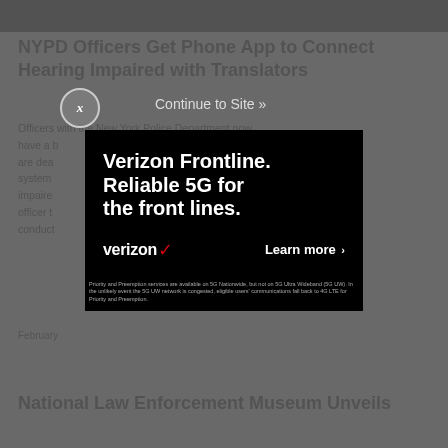[Figure (screenshot): Screenshot of a news website with an advertisement modal overlay. Background shows article titled 'NYPD Officers Get Phone App to Connect Hearing Impaired with Translators' partially visible. A Verizon Frontline ad modal covers the center with text 'Verizon Frontline. Reliable 5G for the front lines.' with a Learn more button. A close button (X) and 'Continue to Site »' link appear above the modal.]
NYPD Officers Get Phone App to Connect Hearing Impaired with Translators
Officers with the New York Police Department now have a better way to communicate with people who are deaf or hard of hearing. The new system lets an officer connect a person with hearing impaired needs to an interpreter so the officer to conduct
February
National Law Enforcement Museum Unveils